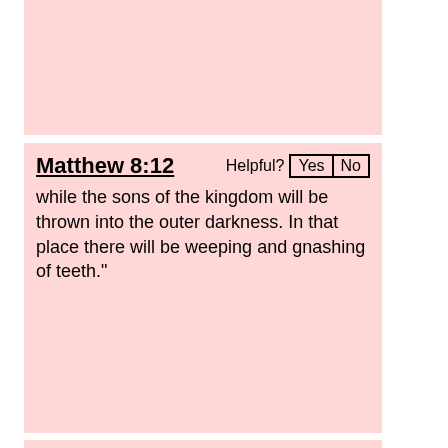[Figure (other): Pink card area at top of page, partially visible, no text]
Matthew 8:12
Helpful? Yes No
while the sons of the kingdom will be thrown into the outer darkness. In that place there will be weeping and gnashing of teeth."
Isaiah 9:15-16
Helpful? Yes No
the elder and honored man is the head, and the prophet who teaches lies is the tail; for those who guide this people have been leading them astray, and those who